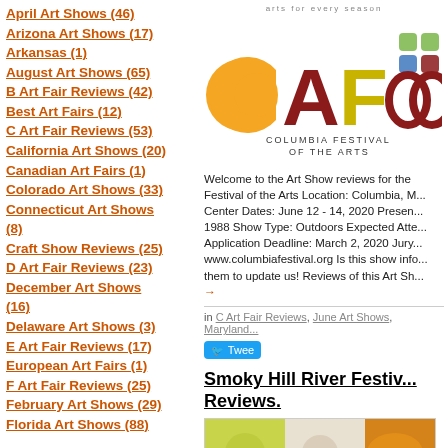April Art Shows (46)
Arizona Art Shows (17)
Arkansas (1)
August Art Shows (65)
B Art Fair Reviews (42)
Best Art Fairs (12)
C Art Fair Reviews (53)
California Art Shows (20)
Canadian Art Fairs (1)
Colorado Art Shows (33)
Connecticut Art Shows (8)
Craft Show Reviews (25)
D Art Fair Reviews (23)
December Art Shows (16)
Delaware Art Shows (3)
E Art Fair Reviews (17)
European Art Fairs (1)
F Art Fair Reviews (25)
February Art Shows (29)
Florida Art Shows (88)
[Figure (logo): Columbia Festival of the Arts logo with colorful CFA letters and tagline 'arts for every season']
Welcome to the Art Show reviews for the Festival of the Arts Location: Columbia, M... Center Dates: June 12 - 14, 2020 Presen... 1988 Show Type: Outdoors Expected Atte... Application Deadline: March 2, 2020 Jury... www.columbiafestival.org Is this show info... them to update us! Reviews of this Art Sh...
in C Art Fair Reviews, June Art Shows, Maryland...
Smoky Hill River Festival Reviews.
[Figure (photo): Photo of colorful craft fair items including ceramics and textile goods]